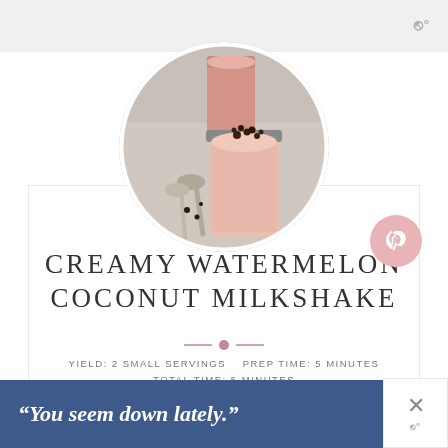[Figure (photo): Circular cropped photo of a pink creamy milkshake in a mason jar topped with chocolate chips, with spoons and another pink glass in the background on a grey surface]
CREAMY WATERMELON COCONUT MILKSHAKE
YIELD: 2 SMALL SERVINGS   PREP TIME: 5 MINUTES
TOTAL TIME: 5 MINUTES
"You seem down lately."